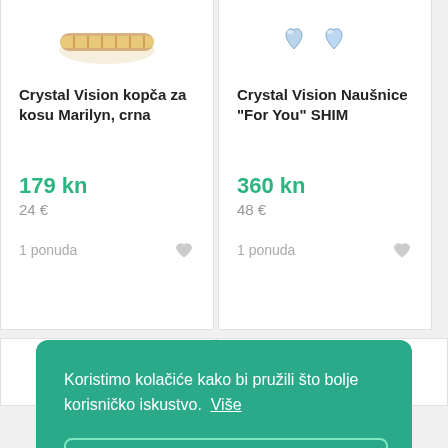[Figure (photo): Product image of Crystal Vision hair clip (kopča za kosu) Marilyn, black - gold colored beaded hair accessory]
Crystal Vision kopča za kosu Marilyn, crna
179 kn
24 €
1 ponuda
[Figure (photo): Product image of Crystal Vision Naušnice For You SHIM - blue crystal heart-shaped earrings]
Crystal Vision Naušnice "For You" SHIM
360 kn
48 €
1 ponuda
Koristimo kolačiće kako bi pružili što bolje korisničko iskustvo.  Više
U redu